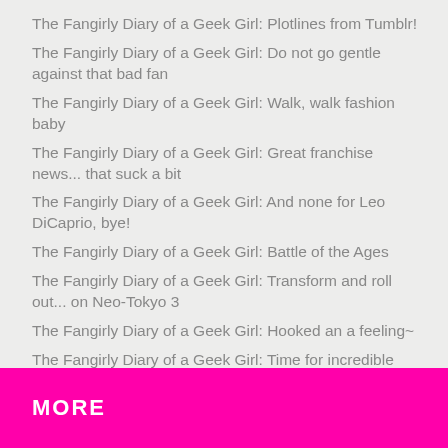The Fangirly Diary of a Geek Girl: Plotlines from Tumblr!
The Fangirly Diary of a Geek Girl: Do not go gentle against that bad fan
The Fangirly Diary of a Geek Girl: Walk, walk fashion baby
The Fangirly Diary of a Geek Girl: Great franchise news... that suck a bit
The Fangirly Diary of a Geek Girl: And none for Leo DiCaprio, bye!
The Fangirly Diary of a Geek Girl: Battle of the Ages
The Fangirly Diary of a Geek Girl: Transform and roll out... on Neo-Tokyo 3
The Fangirly Diary of a Geek Girl: Hooked an a feeling~
The Fangirly Diary of a Geek Girl: Time for incredible news!
The Fangirly Diary of a Geek Girl: Merc with a Mouth!
MORE